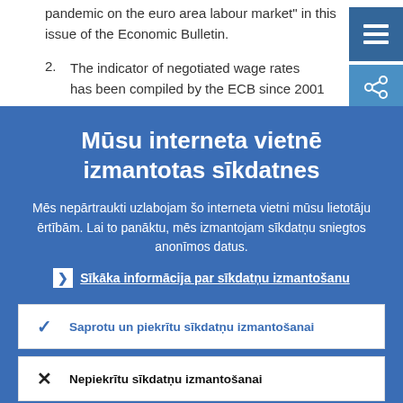pandemic on the euro area labour market" in this issue of the Economic Bulletin.
2. The indicator of negotiated wage rates has been compiled by the ECB since 2001
Mūsu interneta vietnē izmantotas sīkdatnes
Mēs nepārtraukti uzlabojam šo interneta vietni mūsu lietotāju ērtībām. Lai to panāktu, mēs izmantojam sīkdatņu sniegtos anonīmos datus.
❯ Sīkāka informācija par sīkdatņu izmantošanu
Saprotu un piekrītu sīkdatņu izmantošanai
Nepiekrītu sīkdatņu izmantošanai